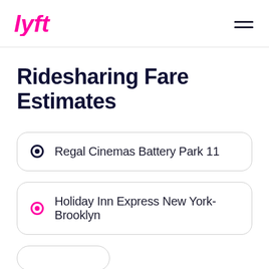[Figure (logo): Lyft pink logo with stylized 'lyft' text]
Ridesharing Fare Estimates
Regal Cinemas Battery Park 11
Holiday Inn Express New York-Brooklyn